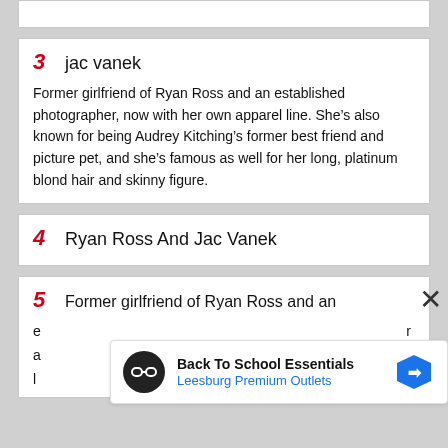3  jac vanek
Former girlfriend of Ryan Ross and an established photographer, now with her own apparel line. She’s also known for being Audrey Kitching’s former best friend and picture pet, and she’s famous as well for her long, platinum blond hair and skinny figure.
4  Ryan Ross And Jac Vanek
5  Former girlfriend of Ryan Ross and an...
[Figure (infographic): Advertisement banner: Back To School Essentials, Leesburg Premium Outlets, with logo icons]
X (close button)